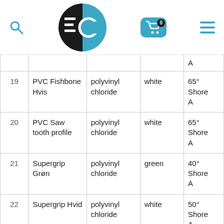FEC logo with search, cart (0), and menu icons
| # | Name | Material | Color | Hardness |
| --- | --- | --- | --- | --- |
|  |  |  |  | A |
| 19 | PVC Fishbone Hvis | polyvinyl chloride | white | 65° Shore A |
| 20 | PVC Saw tooth profile | polyvinyl chloride | white | 65° Shore A |
| 21 | Supergrip Grøn | polyvinyl chloride | green | 40° Shore A |
| 22 | Supergrip Hvid | polyvinyl chloride | white | 50° Shore A |
| 23 | Supergrip Petrol | polyvinyl chloride | dark green | 40° Shore A |